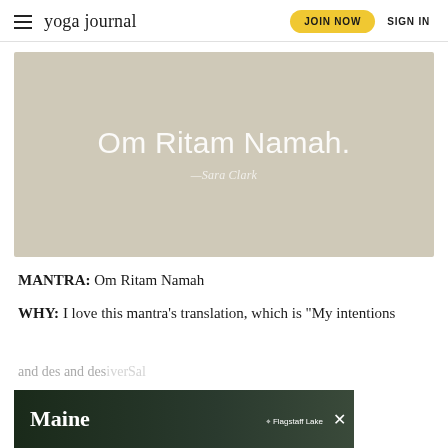yoga journal | JOIN NOW | SIGN IN
[Figure (illustration): Beige/tan rectangular banner with large white text 'Om Ritam Namah.' and attribution '—Sara Clark' below in smaller italic white text]
MANTRA: Om Ritam Namah
WHY: I love this mantra's translation, which is "My intentions and des[ires are supported by cosmic/universal intellige...]"